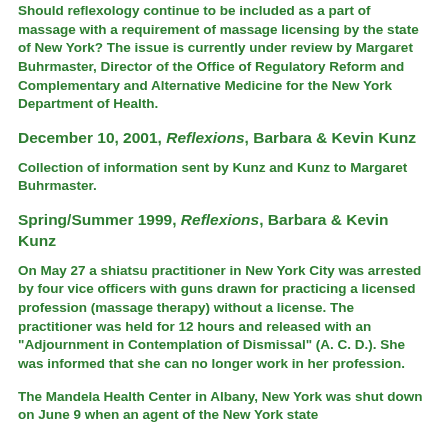Should reflexology continue to be included as a part of massage with a requirement of massage licensing by the state of New York? The issue is currently under review by Margaret Buhrmaster, Director of the Office of Regulatory Reform and Complementary and Alternative Medicine for the New York Department of Health.
December 10, 2001, Reflexions, Barbara & Kevin Kunz
Collection of information sent by Kunz and Kunz to Margaret Buhrmaster.
Spring/Summer 1999, Reflexions, Barbara & Kevin Kunz
On May 27 a shiatsu practitioner in New York City was arrested by four vice officers with guns drawn for practicing a licensed profession (massage therapy) without a license. The practitioner was held for 12 hours and released with an "Adjournment in Contemplation of Dismissal" (A. C. D.). She was informed that she can no longer work in her profession.
The Mandela Health Center in Albany, New York was shut down on June 9 when an agent of the New York state...